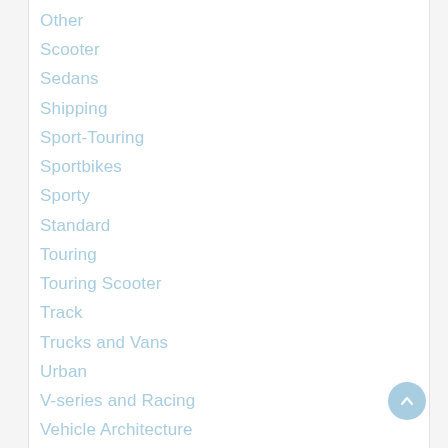Other
Scooter
Sedans
Shipping
Sport-Touring
Sportbikes
Sporty
Standard
Touring
Touring Scooter
Track
Trucks and Vans
Urban
V-series and Racing
Vehicle Architecture
Vehicles
Vehicles Future